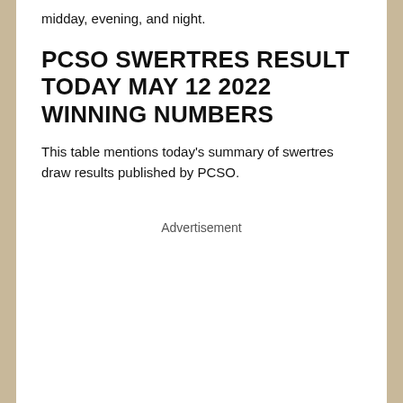midday, evening, and night.
PCSO SWERTRES RESULT TODAY MAY 12 2022 WINNING NUMBERS
This table mentions today's summary of swertres draw results published by PCSO.
Advertisement